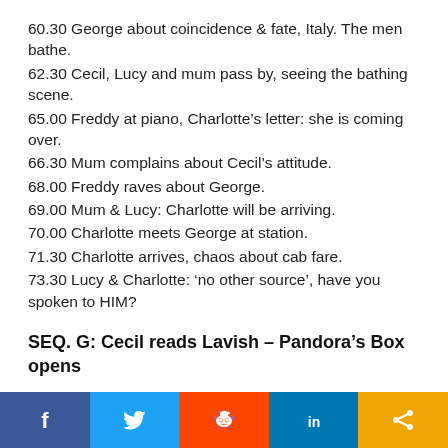60.30 George about coincidence & fate, Italy. The men bathe.
62.30 Cecil, Lucy and mum pass by, seeing the bathing scene.
65.00 Freddy at piano, Charlotte’s letter: she is coming over.
66.30 Mum complains about Cecil’s attitude.
68.00 Freddy raves about George.
69.00 Mum & Lucy: Charlotte will be arriving.
70.00 Charlotte meets George at station.
71.30 Charlotte arrives, chaos about cab fare.
73.30 Lucy & Charlotte: ‘no other source’, have you spoken to HIM?
SEQ. G: Cecil reads Lavish – Pandora’s Box opens
[Figure (infographic): Social sharing bar with five buttons: Facebook (dark blue), Twitter (light blue), Reddit (orange-red), LinkedIn (blue), Share (amber/orange)]